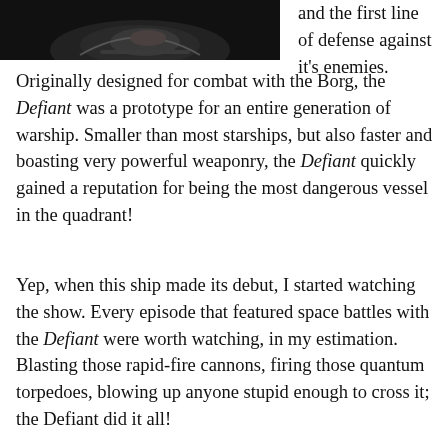[Figure (photo): Dark photograph of a spacecraft (the Defiant) against a black background, partially visible at top of page]
and the first line of defense against it's enemies. Originally designed for combat with the Borg, the Defiant was a prototype for an entire generation of warship. Smaller than most starships, but also faster and boasting very powerful weaponry, the Defiant quickly gained a reputation for being the most dangerous vessel in the quadrant!
Yep, when this ship made its debut, I started watching the show. Every episode that featured space battles with the Defiant were worth watching, in my estimation. Blasting those rapid-fire cannons, firing those quantum torpedoes, blowing up anyone stupid enough to cross it; the Defiant did it all!